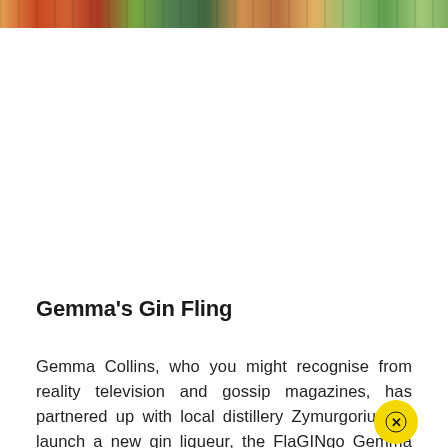[Figure (photo): Colorful photo strip at the top of the page showing people or objects with warm and green tones]
Gemma's Gin Fling
Gemma Collins, who you might recognise from reality television and gossip magazines, has partnered up with local distillery Zymurgorium to launch a new gin liqueur, the FlaGINgo Gemma Collins. A bold flavour for a bold star person. FlaGINgo Gemma Collins is a kiwi an